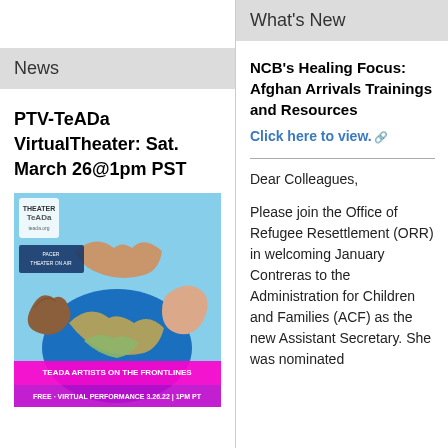What's New
News
PTV-TeADa VirtualTheater: Sat. March 26@1pm PST
[Figure (illustration): Promotional image for TeADa Artists on the Frontlines virtual performance showing hands holding a globe. Text reads: TEADA ARTISTS ON THE FRONTLINES, FREE - VIRTUAL PERFORMANCE 3.26.22 | 1PM PT]
NCB's Healing Focus: Afghan Arrivals Trainings and Resources
Click here to view.
Dear Colleagues,
Please join the Office of Refugee Resettlement (ORR) in welcoming January Contreras to the Administration for Children and Families (ACF) as the new Assistant Secretary. She was nominated